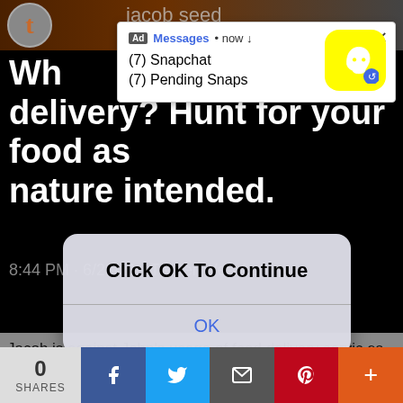[Figure (screenshot): Screenshot of a mobile screen showing a Twitter/Tumblr post about Far Cry 5's Jacob Seed being against food delivery, with a Snapchat ad notification overlay and an 'Click OK To Continue' alert dialog. Social share bar at the bottom with 0 shares.]
jacob seed
Wh delivery? Hunt for your food as nature intended.
8:44 PM · 6/23/21 · Twitter Web App
Jacob is against John's usage of food delivery services, it goes against his alpha code 🐺
#far cry 5 #fc5 #jacob seed #joseph seed #john seed #the seed family #fc5 headcanon #hes banned f
Ad Messages • now ↓
(7) Snapchat
(7) Pending Snaps
Click OK To Continue
OK
0
SHARES